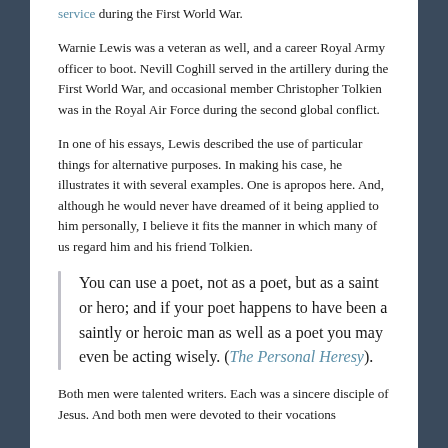service during the First World War.
Warnie Lewis was a veteran as well, and a career Royal Army officer to boot. Nevill Coghill served in the artillery during the First World War, and occasional member Christopher Tolkien was in the Royal Air Force during the second global conflict.
In one of his essays, Lewis described the use of particular things for alternative purposes. In making his case, he illustrates it with several examples. One is apropos here. And, although he would never have dreamed of it being applied to him personally, I believe it fits the manner in which many of us regard him and his friend Tolkien.
You can use a poet, not as a poet, but as a saint or hero; and if your poet happens to have been a saintly or heroic man as well as a poet you may even be acting wisely. (The Personal Heresy).
Both men were talented writers. Each was a sincere disciple of Jesus. And both men were devoted to their vocations